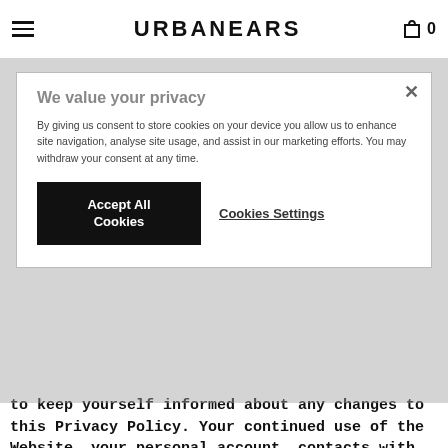URBANEARS
We value your privacy
By giving us consent to store cookies on your device you allow us to enhance site navigation, analyse site usage, and assist in our marketing efforts. You may withdraw your consent at any time.
Accept All Cookies
Cookies Settings
to keep yourself informed about any changes to this Privacy Policy. Your continued use of the Website, your personal account, contacts with the support or customer service or purchase of products after the revised Privacy Policy has become effective will indicate that you have read, understood and accepted the then current version of the Privacy Policy.